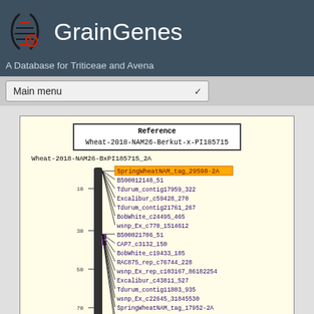GrainGenes — A Database for Triticeae and Avena
GrainGenes
A Database for Triticeae and Avena
[Figure (other): Genetic map viewer showing reference Wheat-2018-NAM26-Berkut-x-PI185715 with chromosome Wheat-2018-NAM26-BxPI185715_2A. A vertical chromosome bar is shown with tick marks at positions 10, 30, 50, 70. A highlighted marker SpringWheatNAM_tag_29598-2A is shown at the top of the marker list, followed by many other markers including BS00012148_51, Tdurum_contig17959_322, Excalibur_c59428_270, Tdurum_contig21761_267, BobWhite_c24495_465, wsnp_Ex_c770_1514612, BS00021706_51, CAP7_c3132_150, BobWhite_c19433_185, RAC875_rep_c76744_228, wsnp_Ex_rep_c103167_86182254, Excalibur_c43811_527, Tdurum_contig11803_935, wsnp_Ex_c22645_31845530, SpringWheatNAM_tag_17952-2A, Ra_c37244_428, BS00070693_51, BobWhite_c46607_542, Excalibur_c31878_70. Lines connect markers to chromosome positions.]